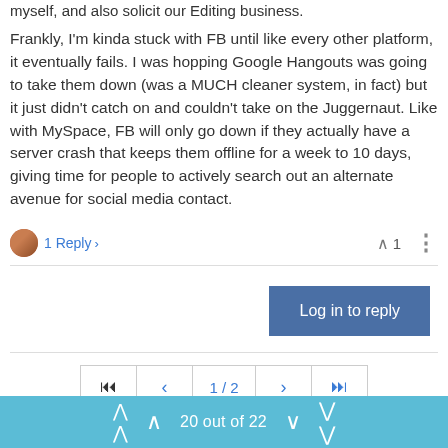myself, and also solicit our Editing business.
Frankly, I'm kinda stuck with FB until like every other platform, it eventually fails. I was hopping Google Hangouts was going to take them down (was a MUCH cleaner system, in fact) but it just didn't catch on and couldn't take on the Juggernaut. Like with MySpace, FB will only go down if they actually have a server crash that keeps them offline for a week to 10 days, giving time for people to actively search out an alternate avenue for social media contact.
1 Reply   ▲ 1
Log in to reply
1 / 2
20 out of 22